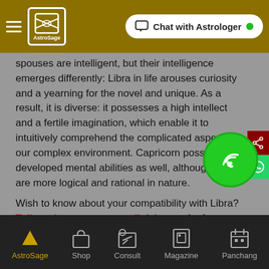AstroSage — Chat with Astrologer
spouses are intelligent, but their intelligence emerges differently: Libra in life arouses curiosity and a yearning for the novel and unique. As a result, it is diverse: it possesses a high intellect and a fertile imagination, which enable it to intuitively comprehend the complicated aspects of our complex environment. Capricorn possesses developed mental abilities as well, although they are more logical and rational in nature.
Wish to know about your compatibility with Libra? Talk to the experts on call right now for free.
Libra and Capricorn compatibility also includes the fact that share the most fundamental values: the value of time and accountability. This can assist them in overcoming any
AstroSage  Shop  Consult  Magazine  Panchang